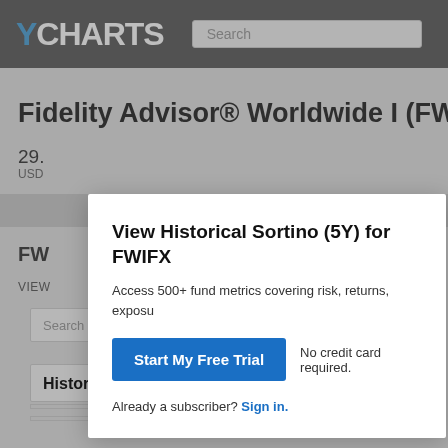YCHARTS
Fidelity Advisor® Worldwide I (FWIFX)
View Historical Sortino (5Y) for FWIFX
Access 500+ fund metrics covering risk, returns, exposu
Start My Free Trial
No credit card required.
Already a subscriber? Sign in.
Historical Sortino (5Y) Chart